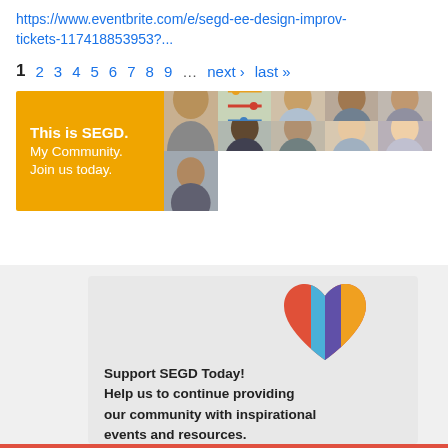https://www.eventbrite.com/e/segd-ee-design-improv-tickets-117418853953?...
1  2  3  4  5  6  7  8  9  ...  next ›  last »
[Figure (illustration): SEGD banner ad with yellow left panel reading 'This is SEGD. My Community. Join us today.' and a grid of diverse people's photos on the right]
[Figure (illustration): Colorful heart logo divided into four quadrants: red, blue, purple, and yellow/gold]
Support SEGD Today!
Help us to continue providing our community with inspirational events and resources.